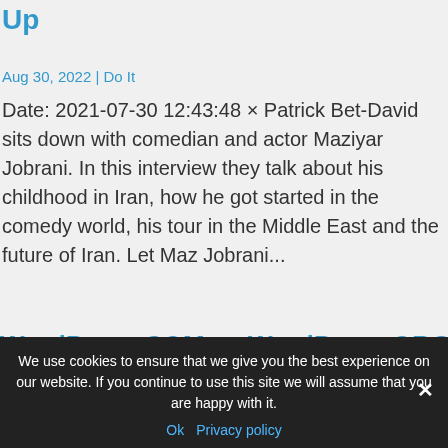Up
Aug 30, 2022 | Do It
Date: 2021-07-30 12:43:48 × Patrick Bet-David sits down with comedian and actor Maziyar Jobrani. In this interview they talk about his childhood in Iran, how he got started in the comedy world, his tour in the Middle East and the future of Iran. Let Maz Jobrani...
WordPress.COM vs WordPress.ORG – Explained!
We use cookies to ensure that we give you the best experience on our website. If you continue to use this site we will assume that you are happy with it.
Ok   Privacy policy